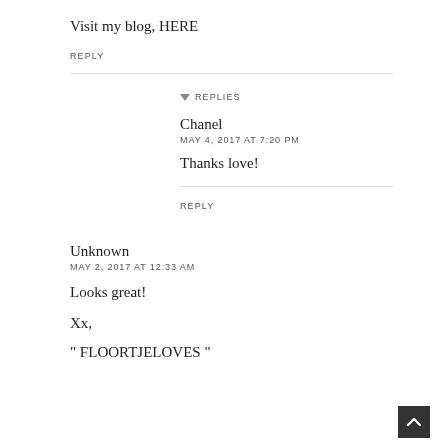Visit my blog, HERE
REPLY
▼ REPLIES
Chanel
MAY 4, 2017 AT 7:20 PM
Thanks love!
REPLY
Unknown
MAY 2, 2017 AT 12:33 AM
Looks great!
Xx,
" FLOORTJELOVES "